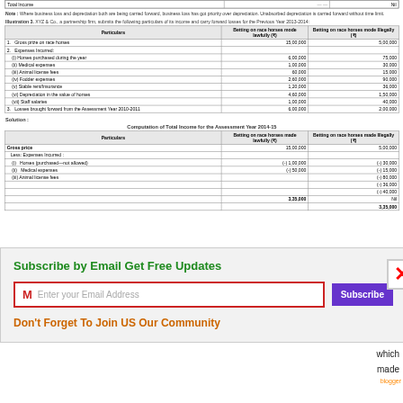| Particulars | Betting on race horses mode lawfully (₹) | Betting on race horses mode Illegally (₹) |
| --- | --- | --- |
| Gross prize on race horses | 15,00,000 | 5,00,000 |
| Expenses Incurred: |  |  |
| (i) Horses purchased during the year | 6,00,000 | 75,000 |
| (ii) Medical expenses | 1,00,000 | 30,000 |
| (iii) Animal license fees | 60,000 | 15,000 |
| (iv) Fodder expenses | 2,60,000 | 90,000 |
| (v) Stable rent/Insurance | 1,20,000 | 36,000 |
| (vi) Depreciation in the value of horses | 4,60,000 | 1,50,000 |
| (vii) Staff salaries | 1,00,000 | 40,000 |
| Losses brought forward from the Assessment Year 2010-2011 | 6,00,000 | 2,00,000 |
Note : Where business loss and depreciation both are being carried forward, business loss has got priority over depreciation. Unabsorbed depreciation is carried forward without time limit.
Illustration 3. XYZ & Co., a partnership firm, submits the following particulars of its income and carry forward losses for the Previous Year 2013-2014:
Computation of Total Income for the Assessment Year 2014-15
| Particulars | Betting on race horses made lawfully (₹) | Betting on race horses made Illegally (₹) |
| --- | --- | --- |
| Gross price | 15,00,000 | 5,00,000 |
| Less: Expenses Incurred: |  |  |
| (i) Horses (purchased—not allowed) | (-)1,00,000 | (-) 30,000 |
| (ii) Medical expenses | (-) 50,000 | (-) 15,000 |
| (iii) Animal license fees |  | (-) 80,000 |
|  |  | (-) 36,000 |
|  |  | (-) 40,000 |
|  | 3,35,000 | Nil |
|  |  | 3,35,000 |
which made
ng or rses, either , the ot be
[Figure (screenshot): Email subscription popup overlay with 'Subscribe by Email Get Free Updates' heading, email input field, Subscribe button, and 'Don't Forget To Join US Our Community' text]